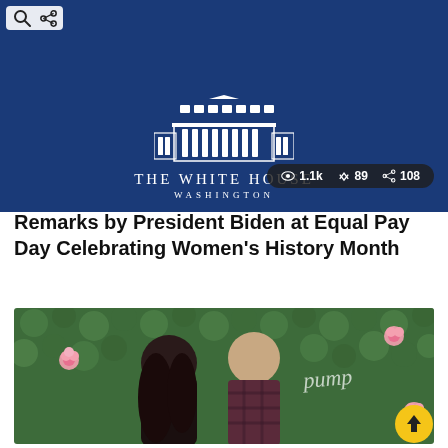[Figure (screenshot): White House banner with blue background, White House building illustration, 'THE WHITE HOUSE WASHINGTON' text, and stats pill showing 1.1k views, 89 reposts, 108 shares]
Remarks by President Biden at Equal Pay Day Celebrating Women's History Month
[Figure (photo): A couple posing in front of a green floral wall backdrop with pink roses. Woman with long dark hair, man in plaid blazer. Script logo visible on right side.]